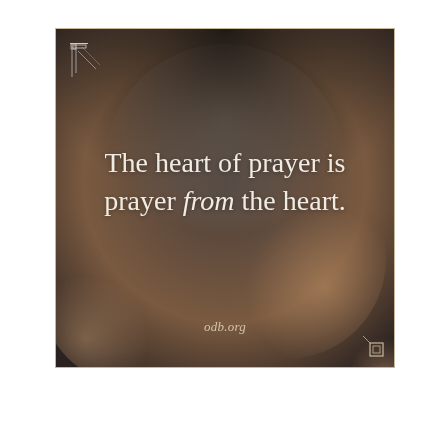[Figure (illustration): Inspirational quote card with dark-to-warm bokeh background, decorative corner ornaments, large white quote text reading 'The heart of prayer is prayer from the heart.' with 'from' italicized, and URL 'odb.org' at the bottom.]
The heart of prayer is prayer from the heart.
odb.org